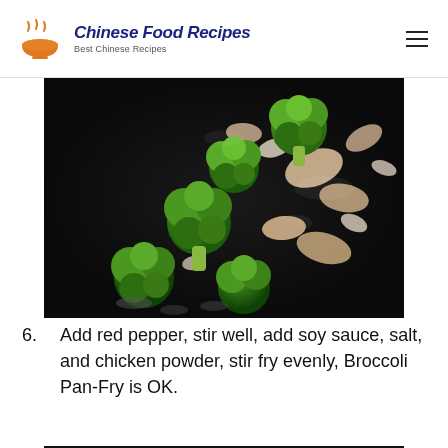Chinese Food Recipes — Best Chinese Recipes
[Figure (photo): Broccoli florets and chicken pieces being stir-fried in a dark wok, mid-toss with steam visible]
6. Add red pepper, stir well, add soy sauce, salt, and chicken powder, stir fry evenly, Broccoli Pan-Fry is OK.
[Figure (photo): Partial view of another stir-fry step in a dark wok, bottom of page]